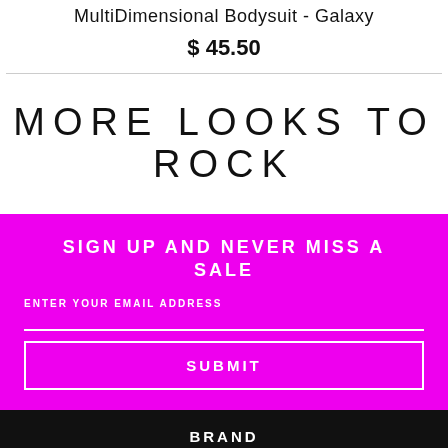MultiDimensional Bodysuit - Galaxy
$ 45.50
MORE LOOKS TO ROCK
SIGN UP AND NEVER MISS A SALE
ENTER YOUR EMAIL ADDRESS
SUBMIT
BRAND